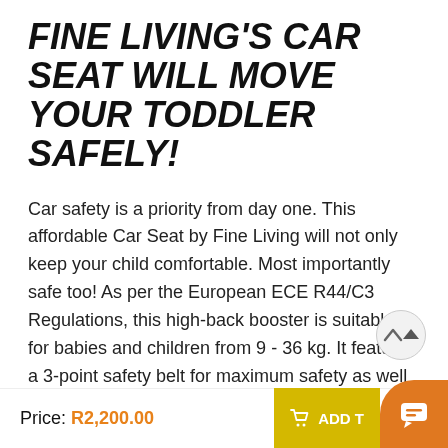FINE LIVING'S CAR SEAT WILL MOVE YOUR TODDLER SAFELY!
Car safety is a priority from day one. This affordable Car Seat by Fine Living will not only keep your child comfortable. Most importantly safe too! As per the European ECE R44/C3 Regulations, this high-back booster is suitable for babies and children from 9 - 36 kg. It features a 3-point safety belt for maximum safety as well as a well-padded headrest and harness for that perfect fit. This wonderfully spacious booster car seat offers a detachable EPE- foam in the backrest and base to ensure additional comfort during road trips. Fine Living booster seat. The car seat is easy to install and
Price: R2,200.00